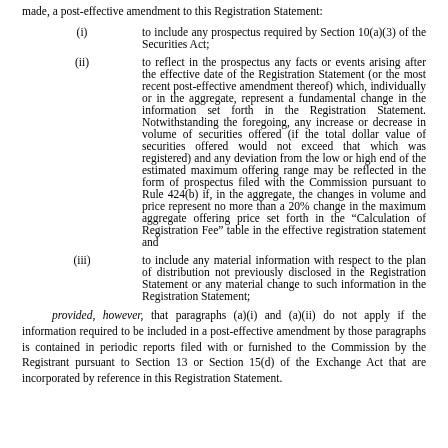made, a post-effective amendment to this Registration Statement:
(i)    to include any prospectus required by Section 10(a)(3) of the Securities Act;
(ii)    to reflect in the prospectus any facts or events arising after the effective date of the Registration Statement (or the most recent post-effective amendment thereof) which, individually or in the aggregate, represent a fundamental change in the information set forth in the Registration Statement. Notwithstanding the foregoing, any increase or decrease in volume of securities offered (if the total dollar value of securities offered would not exceed that which was registered) and any deviation from the low or high end of the estimated maximum offering range may be reflected in the form of prospectus filed with the Commission pursuant to Rule 424(b) if, in the aggregate, the changes in volume and price represent no more than a 20% change in the maximum aggregate offering price set forth in the “Calculation of Registration Fee” table in the effective registration statement and
(iii)    to include any material information with respect to the plan of distribution not previously disclosed in the Registration Statement or any material change to such information in the Registration Statement;
provided, however, that paragraphs (a)(i) and (a)(ii) do not apply if the information required to be included in a post-effective amendment by those paragraphs is contained in periodic reports filed with or furnished to the Commission by the Registrant pursuant to Section 13 or Section 15(d) of the Exchange Act that are incorporated by reference in this Registration Statement.